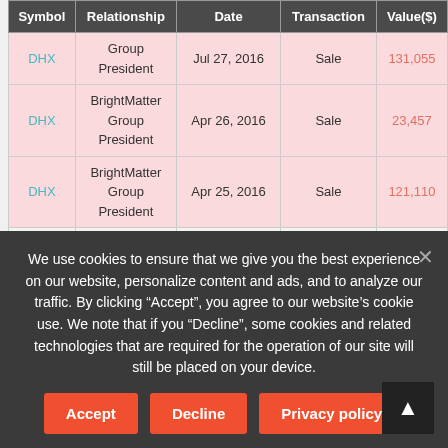| Symbol | Relationship | Date | Transaction | Value($) |
| --- | --- | --- | --- | --- |
| DHX | Group President | Jul 27, 2016 | Sale | 131,055 |
| DHX | BrightMatter Group President | Apr 26, 2016 | Sale | 23,457 |
| DHX | BrightMatter Group President | Apr 25, 2016 | Sale | 121,110 |
| DHX | BrightMatter Group President | Mar 14, 2016 | Option Exercise | 103,577 |
We use cookies to ensure that we give you the best experience on our website, personalize content and ads, and to analyze our traffic. By clicking “Accept”, you agree to our website’s cookie use. We note that if you “Decline”, some cookies and related technologies that are required for the operation of our site will still be placed on your device.